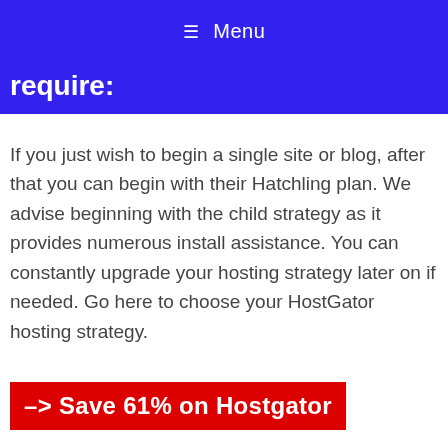≡ Menu
require:
If you just wish to begin a single site or blog, after that you can begin with their Hatchling plan. We advise beginning with the child strategy as it provides numerous install assistance. You can constantly upgrade your hosting strategy later on if needed. Go here to choose your HostGator hosting strategy.
–> Save 61% on Hostgator